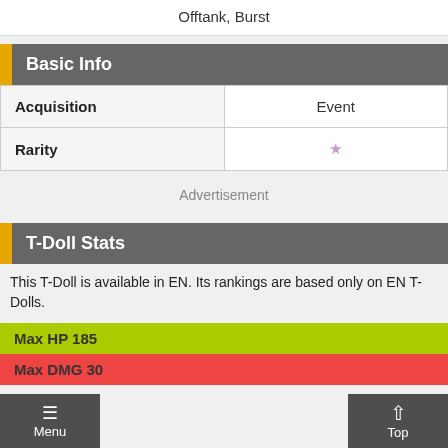Offtank, Burst
Basic Info
|  |  |
| --- | --- |
| Acquisition | Event |
| Rarity | ★ |
Advertisement
T-Doll Stats
This T-Doll is available in EN. Its rankings are based only on EN T-Dolls.
Max HP 185
Max DMG 30